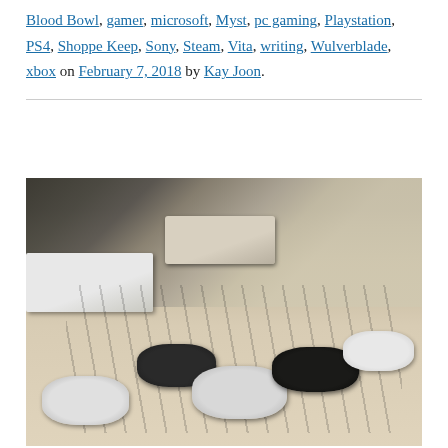Blood Bowl, gamer, microsoft, Myst, pc gaming, Playstation, PS4, Shoppe Keep, Sony, Steam, Vita, writing, Wulverblade, xbox on February 7, 2018 by Kay Joon.
[Figure (photo): A photograph of multiple video game consoles and controllers scattered on a carpeted floor, including what appears to be a PS4, GameCube/Dreamcast, and various controllers with cables tangled around them.]